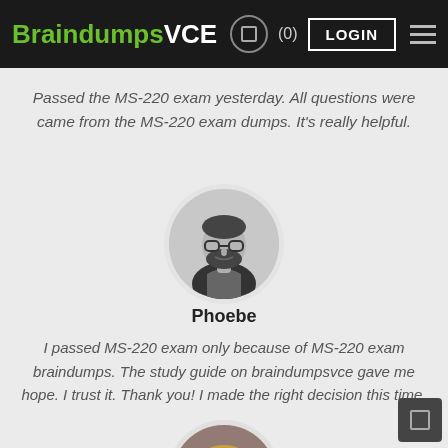BraindumpsVCE (0) LOGIN
Passed the MS-220 exam yesterday. All questions were came from the MS-220 exam dumps. It's really helpful.
[Figure (photo): Circular profile photo of a man with beard and glasses, smiling, in black and white]
Phoebe
I passed MS-220 exam only because of MS-220 exam braindumps. The study guide on braindumpsvce gave me hope. I trust it. Thank you! I made the right decision this time.
[Figure (photo): Circular profile photo of a woman with blonde hair, smiling, partially visible at bottom of page]